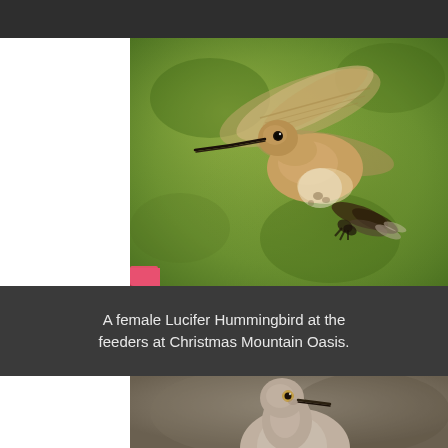[Figure (photo): A female Lucifer Hummingbird hovering in flight, photographed against a blurred green background. The bird has a long dark bill, rufous-buff coloring on the body and wings, and dark tail feathers. A pink/red feeder is partially visible at the lower left.]
A female Lucifer Hummingbird at the feeders at Christmas Mountain Oasis.
[Figure (photo): Partial photo of a dove (likely a Mourning Dove) facing right, shown from the neck up, with soft brown-gray plumage, a small round head, and a slender dark bill. Blurred gray-brown background.]